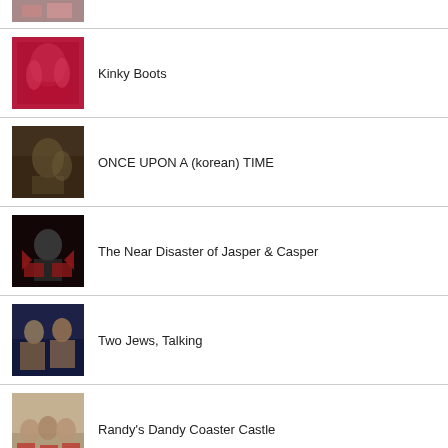[Figure (photo): Partial thumbnail of a theater/performance image at the top of the list]
Kinky Boots
ONCE UPON A (korean) TIME
The Near Disaster of Jasper & Casper
Two Jews, Talking
Randy's Dandy Coaster Castle